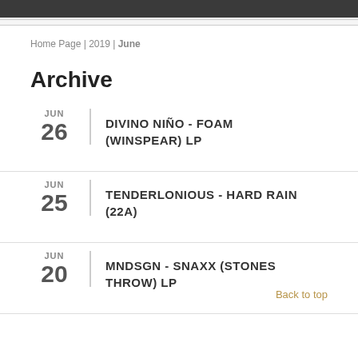Home Page | 2019 | June
Archive
JUN 26 DIVINO NIÑO - FOAM (WINSPEAR) LP
JUN 25 TENDERLONIOUS - HARD RAIN (22A)
JUN 20 MNDSGN - SNAXX (STONES THROW) LP